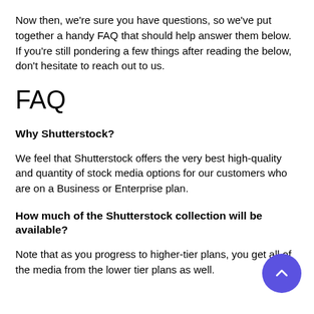Now then, we're sure you have questions, so we've put together a handy FAQ that should help answer them below. If you're still pondering a few things after reading the below, don't hesitate to reach out to us.
FAQ
Why Shutterstock?
We feel that Shutterstock offers the very best high-quality and quantity of stock media options for our customers who are on a Business or Enterprise plan.
How much of the Shutterstock collection will be available?
Note that as you progress to higher-tier plans, you get all of the media from the lower tier plans as well.